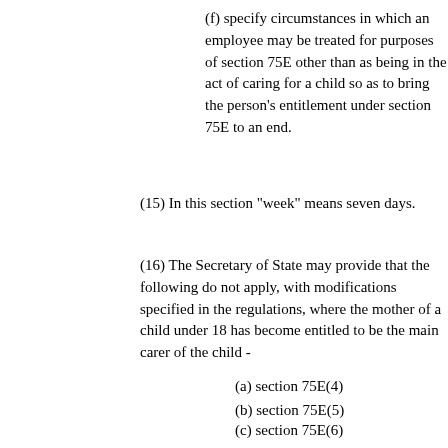(f) specify circumstances in which an employee may be treated for purposes of section 75E other than as being in the act of caring for a child so as to bring the person's entitlement under section 75E to an end.
(15) In this section "week" means seven days.
(16) The Secretary of State may provide that the following do not apply, with modifications specified in the regulations, where the mother of a child under 18 has become entitled to be the main carer of the child -
(a) section 75E(4)
(b) section 75E(5)
(c) section 75E(6)
(d) subsection (12)